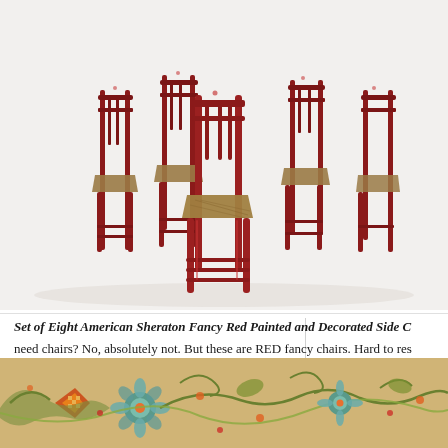[Figure (photo): Photograph of a set of eight American Sheraton fancy red painted and decorated side chairs with rush seats, arranged in a group against a white background. The chairs have ornate red painted frames with decorative details.]
Set of Eight American Sheraton Fancy Red Painted and Decorated Side C... need chairs? No, absolutely not. But these are RED fancy chairs. Hard to res...
[Figure (photo): Photograph of a decorative painted panel featuring colorful floral and scrollwork designs in teal, red, green, and gold on a cream/tan background.]